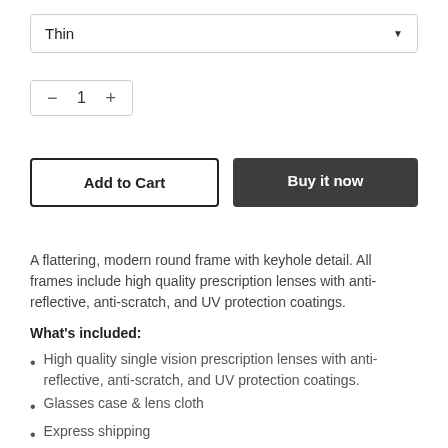Thin
− 1 +
Add to Cart
Buy it now
A flattering, modern round frame with keyhole detail. All frames include high quality prescription lenses with anti-reflective, anti-scratch, and UV protection coatings.
What's included:
High quality single vision prescription lenses with anti-reflective, anti-scratch, and UV protection coatings.
Glasses case & lens cloth
Express shipping